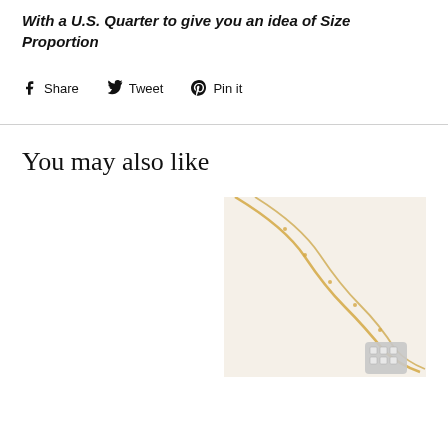With a U.S. Quarter to give you an idea of Size Proportion
Share  Tweet  Pin it
You may also like
[Figure (photo): Partial view of a gold necklace with a pendant on a light cream/white background, cropped at bottom right of the page]